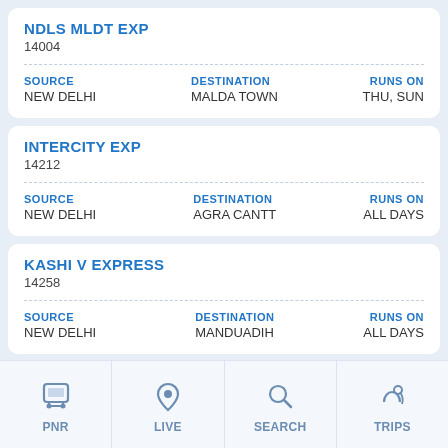NDLS MLDT EXP
14004
SOURCE: NEW DELHI | DESTINATION: MALDA TOWN | RUNS ON: THU, SUN
INTERCITY EXP
14212
SOURCE: NEW DELHI | DESTINATION: AGRA CANTT | RUNS ON: ALL DAYS
KASHI V EXPRESS
14258
SOURCE: NEW DELHI | DESTINATION: MANDUADIH | RUNS ON: ALL DAYS
INTERCITY EXP
14316
SOURCE: NEW DELHI | DESTINATION: BAREILLY | RUNS ON: ALL DAYS
PNR | LIVE | SEARCH | TRIPS